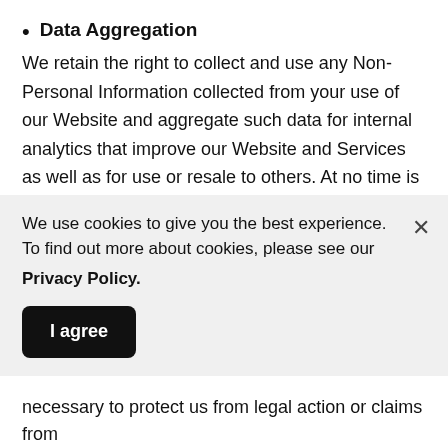Data Aggregation
We retain the right to collect and use any Non-Personal Information collected from your use of our Website and aggregate such data for internal analytics that improve our Website and Services as well as for use or resale to others. At no time is your Personally Identifiable Information included in such data aggregations.
Legally Required Releases of Information
We may be legally required to disclose your Personally Identifiable Information, and we will do such, without
We use cookies to give you the best experience. To find out more about cookies, please see our Privacy Policy.
I agree
necessary to protect us from legal action or claims from